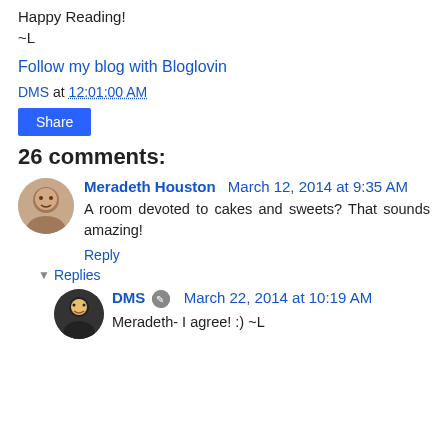Happy Reading!
~L
Follow my blog with Bloglovin
DMS at 12:01:00 AM
Share
26 comments:
Meradeth Houston March 12, 2014 at 9:35 AM
A room devoted to cakes and sweets? That sounds amazing!
Reply
Replies
DMS March 22, 2014 at 10:19 AM
Meradeth- I agree! :) ~L